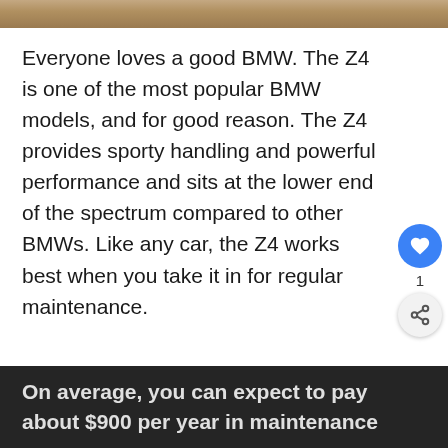[Figure (photo): Top portion of a car image, partially visible as a narrow strip at the top of the page]
Everyone loves a good BMW. The Z4 is one of the most popular BMW models, and for good reason. The Z4 provides sporty handling and powerful performance and sits at the lower end of the spectrum compared to other BMWs. Like any car, the Z4 works best when you take it in for regular maintenance.
On average, you can expect to pay about $900 per year in maintenance